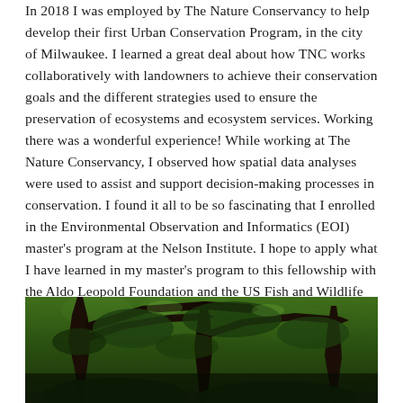In 2018 I was employed by The Nature Conservancy to help develop their first Urban Conservation Program, in the city of Milwaukee. I learned a great deal about how TNC works collaboratively with landowners to achieve their conservation goals and the different strategies used to ensure the preservation of ecosystems and ecosystem services. Working there was a wonderful experience! While working at The Nature Conservancy, I observed how spatial data analyses were used to assist and support decision-making processes in conservation. I found it all to be so fascinating that I enrolled in the Environmental Observation and Informatics (EOI) master's program at the Nelson Institute. I hope to apply what I have learned in my master's program to this fellowship with the Aldo Leopold Foundation and the US Fish and Wildlife Service.
[Figure (photo): Photograph of large tree canopy with spreading branches and green foliage viewed from below, outdoors in a natural setting.]